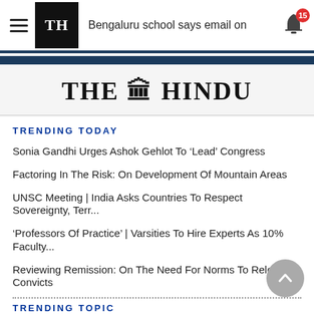Bengaluru school says email on
[Figure (logo): The Hindu newspaper logo with masthead image]
TRENDING TODAY
Sonia Gandhi Urges Ashok Gehlot To 'Lead' Congress
Factoring In The Risk: On Development Of Mountain Areas
UNSC Meeting | India Asks Countries To Respect Sovereignty, Terr...
'Professors Of Practice' | Varsities To Hire Experts As 10% Faculty...
Reviewing Remission: On The Need For Norms To Release Convicts
TRENDING TOPIC
Indian National Congress
Rains
United Nations